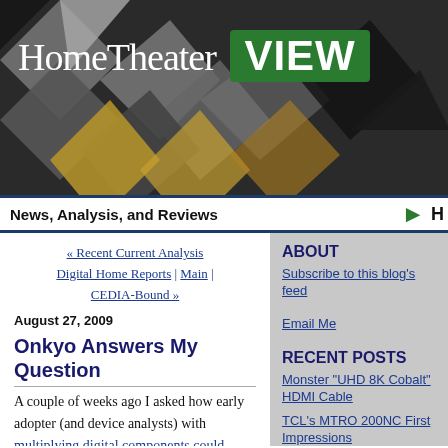[Figure (logo): HomeTheater VIEW logo banner with dark geometric background and green VIEW badge]
News, Analysis, and Reviews → H
« Recent Current Analysis Digital Home Reports | Main | CEDIA-Bound »
August 27, 2009
Onkyo Answers My Question
A couple of weeks ago I asked how early adopter (and device analysts) with multiplying digital components could possibly connect them all.
ABOUT
Subscribe to this blog's feed
Email Me
RECENT POSTS
Monster "UHD 8K Cobalt" HDMI Cable
TCL's MTRO 200NC First Impressions
Dolby, WB, AMC 20th Anniversary Re-release of